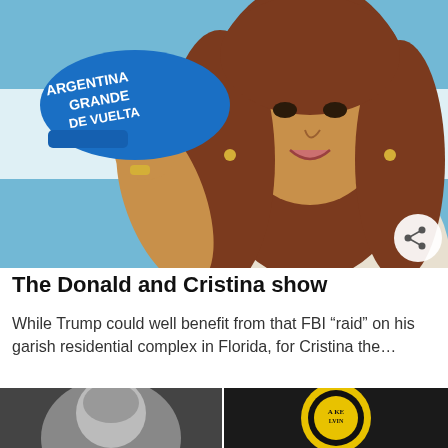[Figure (photo): A woman holding a blue cap that reads 'ARGENTINA GRANDE DE VUELTA', posed in front of an Argentine flag background. A share button is visible in the bottom right of the image.]
The Donald and Cristina show
While Trump could well benefit from that FBI “raid” on his garish residential complex in Florida, for Cristina the…
[Figure (photo): Partial photo on the bottom left, appears to show a gray-haired person.]
[Figure (photo): Partial photo on the bottom right, shows a yellow and black circular logo/badge.]